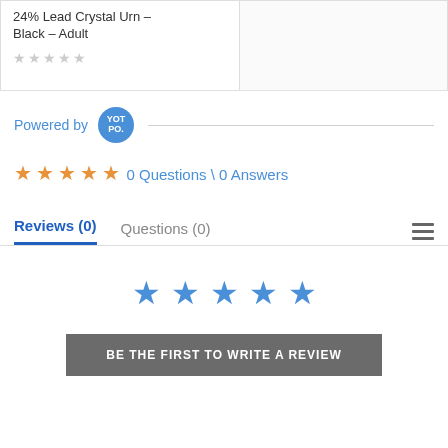24% Lead Crystal Urn – Black – Adult
[Figure (other): Five outline star rating icons in light gray]
Powered by YOTPO
[Figure (other): Five outline star rating icons in orange]
0 Questions \ 0 Answers
Reviews (0)   Questions (0)
[Figure (other): Five solid blue star icons]
BE THE FIRST TO WRITE A REVIEW